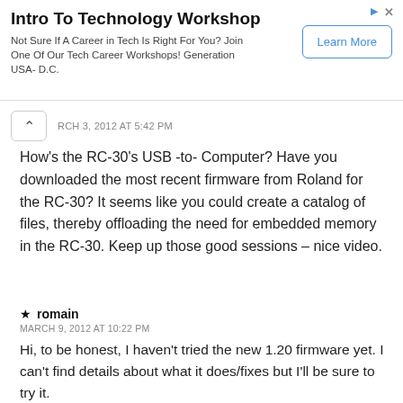[Figure (other): Advertisement banner for Intro To Technology Workshop with Learn More button]
MARCH 3, 2012 AT 5:42 PM
How's the RC-30's USB -to- Computer? Have you downloaded the most recent firmware from Roland for the RC-30? It seems like you could create a catalog of files, thereby offloading the need for embedded memory in the RC-30. Keep up those good sessions – nice video.
★ romain
MARCH 9, 2012 AT 10:22 PM
Hi, to be honest, I haven't tried the new 1.20 firmware yet. I can't find details about what it does/fixes but I'll be sure to try it.